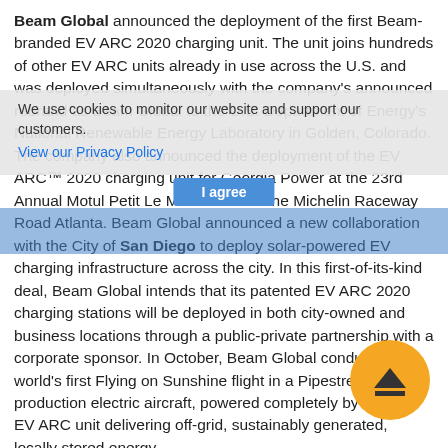Beam Global announced the deployment of the first Beam-branded EV ARC 2020 charging unit. The unit joins hundreds of other EV ARC units already in use across the U.S. and was deployed simultaneously with the company's announced rebrand as Beam Global to the U.S. Department of Energy's National Renewable Energy Laboratory in Golden, Colorado. The company also announced the deployment of the EV ARC™ 2020 charging unit for Georgia Power at the 23rd Annual Motul Petit Le Mans event at the Michelin Raceway Road Atlanta. Beam Global announced a new collaboration with the City of San Diego to deploy solar-powered EV charging infrastructure across the city. In this first-of-its-kind deal, Beam Global intends that its patented EV ARC 2020 charging stations will be deployed in both city-owned and business locations through a public-private partnership with a corporate sponsor. In October, Beam Global conducted the world's first Flying on Sunshine flight in a Pipestrel, production electric aircraft, powered completely by Beam's EV ARC unit delivering off-grid, sustainably generated, locally stored energy.
We use cookies to monitor our website and support our customers. View our Privacy Policy
I agree